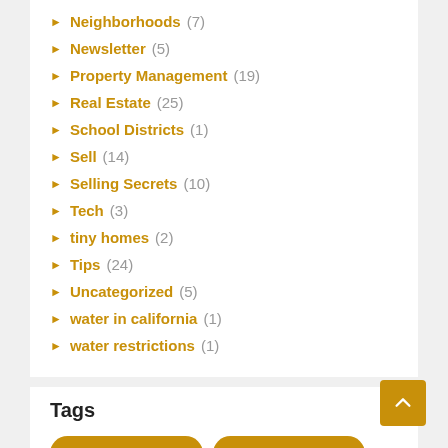Neighborhoods (7)
Newsletter (5)
Property Management (19)
Real Estate (25)
School Districts (1)
Sell (14)
Selling Secrets (10)
Tech (3)
tiny homes (2)
Tips (24)
Uncategorized (5)
water in california (1)
water restrictions (1)
Tags
architectural design   Bathroom Remodel